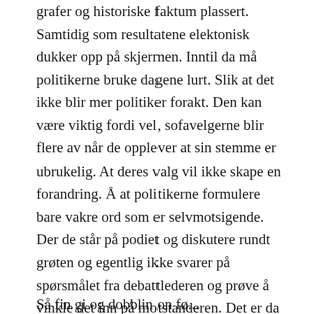grafer og historiske faktum plassert. Samtidig som resultatene elektonisk dukker opp på skjermen. Inntil da må politikerne bruke dagene lurt. Slik at det ikke blir mer politiker forakt. Den kan være viktig fordi vel, sofavelgerne blir flere av når de opplever at sin stemme er ubrukelig. At deres valg vil ikke skape en forandring. Å at politikerne formulere bare vakre ord som er selvmotsigende. Der de står på podiet og diskutere rundt grøten og egentlig ikke svarer på spørsmålet fra debattlederen og prøve å vinkle det inn på motstanderen. Det er da folk gir blaffen og skrur enten av tven eller på lydløs mens de gjør klar kveldsmaten.
Så fin gi og dobblin on fø...